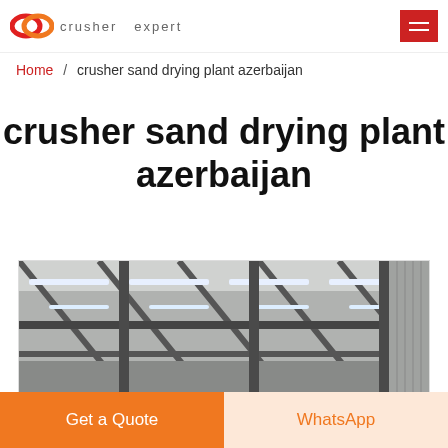crusher expert
Home / crusher sand drying plant azerbaijan
crusher sand drying plant azerbaijan
[Figure (photo): Interior of an industrial steel-frame warehouse or factory building with metal roof trusses and fluorescent strip lighting, shown in grayscale]
Get a Quote
WhatsApp